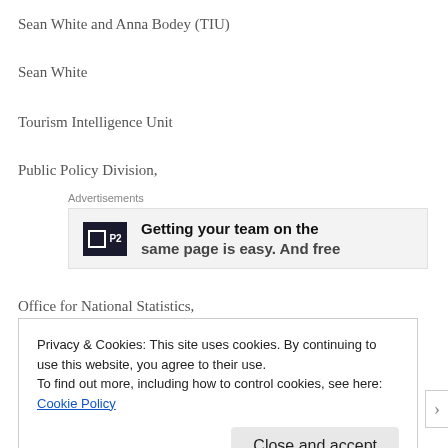Sean White and Anna Bodey (TIU)
Sean White
Tourism Intelligence Unit
Public Policy Division,
[Figure (other): Advertisement banner for P2 with text 'Getting your team on the same page is easy. And free']
Office for National Statistics,
Privacy & Cookies: This site uses cookies. By continuing to use this website, you agree to their use.
To find out more, including how to control cookies, see here: Cookie Policy